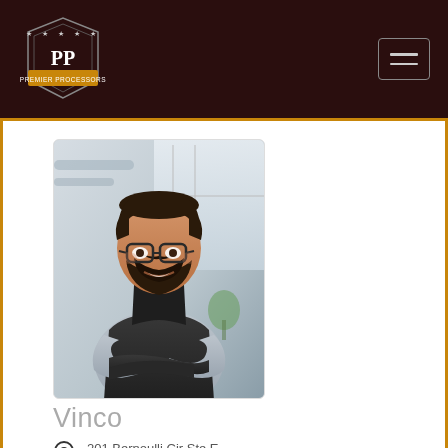[Figure (logo): Premium Processors shield logo with PP initials on dark brown header background]
[Figure (photo): Man with beard and glasses wearing black apron, arms crossed, standing in a restaurant/kitchen setting]
Vinco
201 Bernoulli Cir Ste E
Oxnard, California 93030